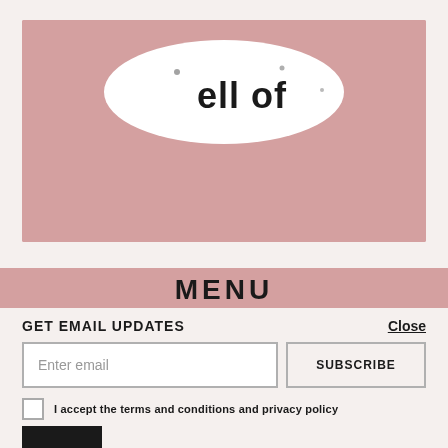[Figure (illustration): Pink rectangular block with a partially visible black and white logo/text reading 'ell of' peeking over the top edge, suggesting a brand logo partially cropped]
MENU
GET EMAIL UPDATES
Close
Enter email
SUBSCRIBE
I accept the terms and conditions and privacy policy